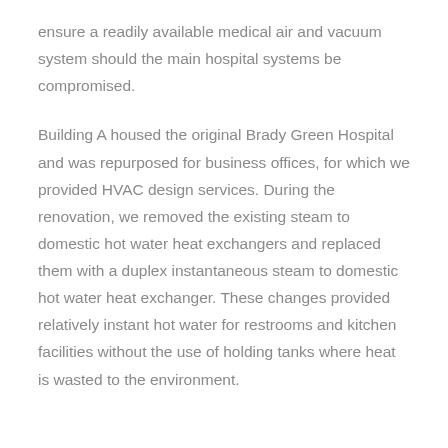ensure a readily available medical air and vacuum system should the main hospital systems be compromised.
Building A housed the original Brady Green Hospital and was repurposed for business offices, for which we provided HVAC design services. During the renovation, we removed the existing steam to domestic hot water heat exchangers and replaced them with a duplex instantaneous steam to domestic hot water heat exchanger. These changes provided relatively instant hot water for restrooms and kitchen facilities without the use of holding tanks where heat is wasted to the environment.